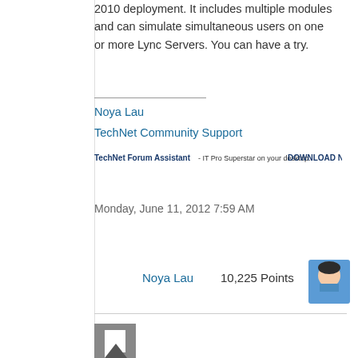2010 deployment. It includes multiple modules and can simulate simultaneous users on one or more Lync Servers. You can have a try.
Noya Lau
TechNet Community Support
[Figure (screenshot): TechNet Forum Assistant banner with download now for free link]
Monday, June 11, 2012 7:59 AM
[Figure (illustration): Avatar of Noya Lau - cartoon character in blue shirt]
Noya Lau    10,225 Points
[Figure (illustration): Post/comment icon (gray square with speech bubble indicator)]
[Figure (illustration): Up arrow vote button]